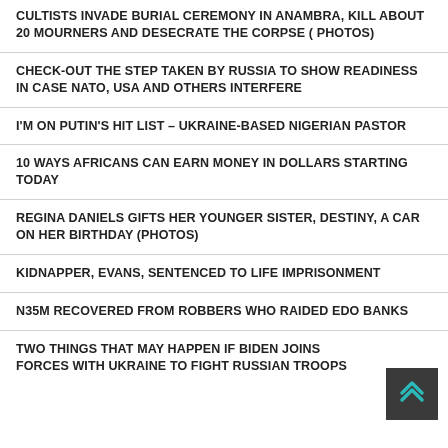CULTISTS INVADE BURIAL CEREMONY IN ANAMBRA, KILL ABOUT 20 MOURNERS AND DESECRATE THE CORPSE ( PHOTOS)
CHECK-OUT THE STEP TAKEN BY RUSSIA TO SHOW READINESS IN CASE NATO, USA AND OTHERS INTERFERE
I'M ON PUTIN'S HIT LIST – UKRAINE-BASED NIGERIAN PASTOR
10 WAYS AFRICANS CAN EARN MONEY IN DOLLARS STARTING TODAY
REGINA DANIELS GIFTS HER YOUNGER SISTER, DESTINY, A CAR ON HER BIRTHDAY (PHOTOS)
KIDNAPPER, EVANS, SENTENCED TO LIFE IMPRISONMENT
N35M RECOVERED FROM ROBBERS WHO RAIDED EDO BANKS
TWO THINGS THAT MAY HAPPEN IF BIDEN JOINS FORCES WITH UKRAINE TO FIGHT RUSSIAN TROOPS